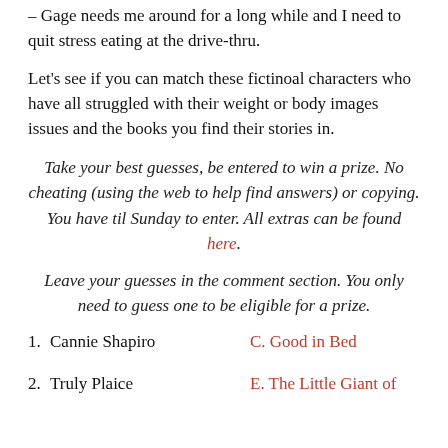– Gage needs me around for a long while and I need to quit stress eating at the drive-thru.
Let's see if you can match these fictinoal characters who have all struggled with their weight or body images issues and the books you find their stories in.
Take your best guesses, be entered to win a prize.  No cheating (using the web to help find answers) or copying.  You have til Sunday to enter.  All extras can be found here.
Leave your guesses in the comment section.  You only need to guess one to be eligible for a prize.
1. Cannie Shapiro        C. Good in Bed
2. Truly Plaice        E. The Little Giant of